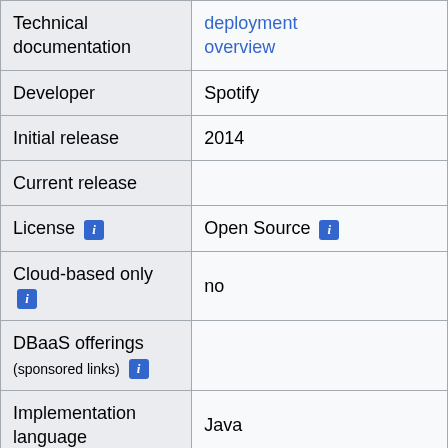| Property | Value |
| --- | --- |
| Technical documentation | deployment overview |
| Developer | Spotify |
| Initial release | 2014 |
| Current release |  |
| License [i] | Open Source [i] |
| Cloud-based only [i] | no |
| DBaaS offerings (sponsored links) [i] |  |
| Implementation language | Java |
| Server operating systems |  |
| Data scheme | schema-free |
| Typing [i] | yes |